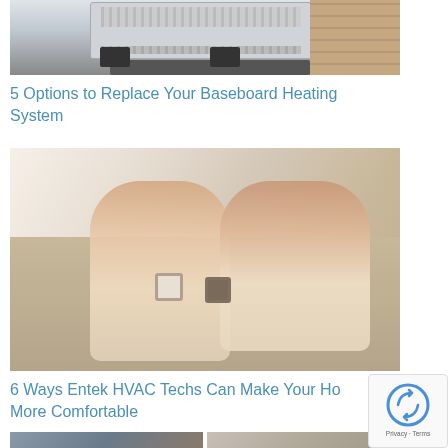[Figure (photo): Outdoor HVAC/air conditioning unit mounted on a wall bracket with brick wall visible on the right]
5 Options to Replace Your Baseboard Heating System
[Figure (photo): Two women relaxing on a couch holding mugs, eyes closed, looking comfortable and warm]
6 Ways Entek HVAC Techs Can Make Your Home More Comfortable
[Figure (photo): Partial bottom strip showing two thumbnail images - left appears to be a building/exterior, right appears to be interior/other subject]